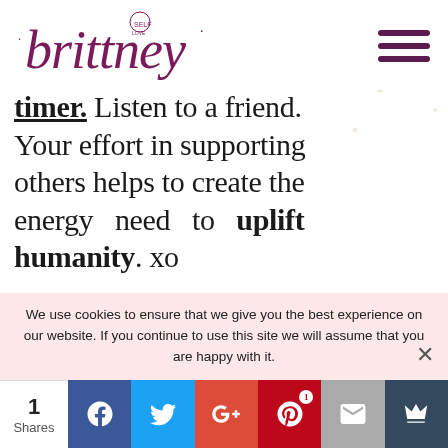[Figure (logo): Brittney self love brand cursive logo with moon and stars]
timer. Listen to a friend. Your effort in supporting others helps to create the energy need to uplift humanity. xo
Tune into the LIVE reading
We use cookies to ensure that we give you the best experience on our website. If you continue to use this site we will assume that you are happy with it.
1 Shares